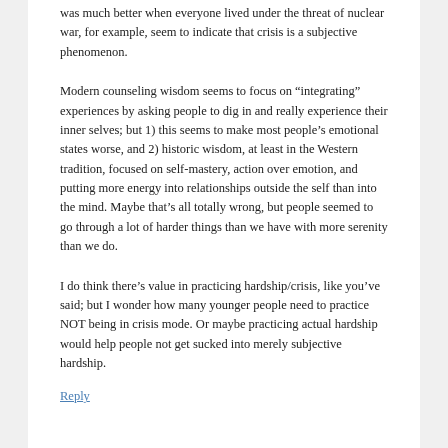was much better when everyone lived under the threat of nuclear war, for example, seem to indicate that crisis is a subjective phenomenon.
Modern counseling wisdom seems to focus on “integrating” experiences by asking people to dig in and really experience their inner selves; but 1) this seems to make most people’s emotional states worse, and 2) historic wisdom, at least in the Western tradition, focused on self-mastery, action over emotion, and putting more energy into relationships outside the self than into the mind. Maybe that’s all totally wrong, but people seemed to go through a lot of harder things than we have with more serenity than we do.
I do think there’s value in practicing hardship/crisis, like you’ve said; but I wonder how many younger people need to practice NOT being in crisis mode. Or maybe practicing actual hardship would help people not get sucked into merely subjective hardship.
Reply